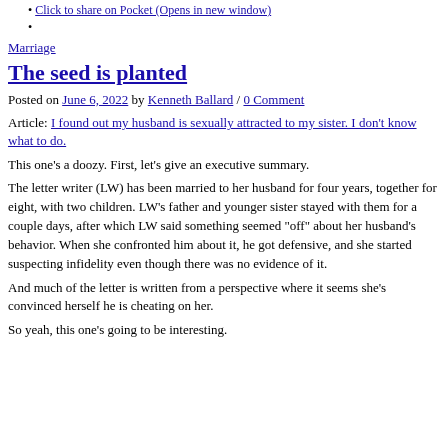Click to share on Pocket (Opens in new window)
Marriage
The seed is planted
Posted on June 6, 2022 by Kenneth Ballard / 0 Comment
Article: I found out my husband is sexually attracted to my sister. I don't know what to do.
This one's a doozy. First, let's give an executive summary.
The letter writer (LW) has been married to her husband for four years, together for eight, with two children. LW's father and younger sister stayed with them for a couple days, after which LW said something seemed “off” about her husband’s behavior. When she confronted him about it, he got defensive, and she started suspecting infidelity even though there was no evidence of it.
And much of the letter is written from a perspective where it seems she’s convinced herself he is cheating on her.
So yeah, this one’s going to be interesting.